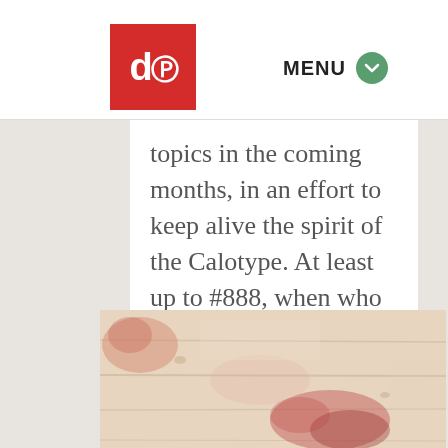db [logo] MENU
topics in the coming months, in an effort to keep alive the spirit of the Calotype. At least up to #888, when who knows what the Ogdoad will bring?
[Figure (photo): Close-up photograph of aged, weathered wood surface with pinkish-red stains or marks, showing texture and wood grain]